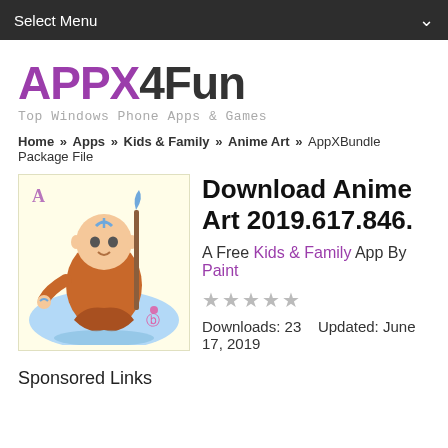Select Menu
APPX4Fun
Top Windows Phone Apps & Games
Home » Apps » Kids & Family » Anime Art » AppXBundle Package File
Download Anime Art 2019.617.846.
A Free Kids & Family App By Paint
☆☆☆☆☆  Downloads: 23    Updated: June 17, 2019
Sponsored Links